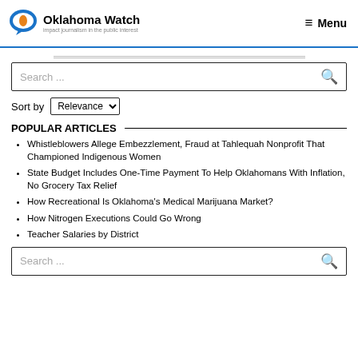Oklahoma Watch — Impact journalism in the public interest | Menu
Search ...
Sort by Relevance
POPULAR ARTICLES
Whistleblowers Allege Embezzlement, Fraud at Tahlequah Nonprofit That Championed Indigenous Women
State Budget Includes One-Time Payment To Help Oklahomans With Inflation, No Grocery Tax Relief
How Recreational Is Oklahoma's Medical Marijuana Market?
How Nitrogen Executions Could Go Wrong
Teacher Salaries by District
Search ...